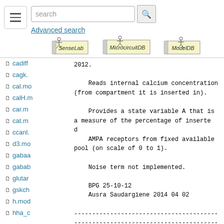[Figure (screenshot): Website header with search box, hamburger menu, and three logos: SenseLab, MicrocircuitDB, ModelDB]
cadiff...
cagk....
cal.mo...
calH.m...
car.m...
cat.m...
ccanl....
d3.mo...
gabaa...
gabab...
glutar...
gskch...
h.mod...
hha_c...
2012.

    Reads internal calcium concentration
(from compartment it is inserted in).

    Provides a state variable A that is
a measure of the percentage of inserted
d
    AMPA receptors from fixed available
pool (on scale of 0 to 1).

    Noise term not implemented.

    BPG 25-10-12
    Ausra Saudargiene 2014 04 02

----------------------------------------
----------------------------------------
-
ENDCOMMENT